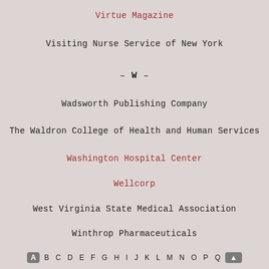Virtue Magazine
Visiting Nurse Service of New York
– W –
Wadsworth Publishing Company
The Waldron College of Health and Human Services
Washington Hospital Center
Wellcorp
West Virginia State Medical Association
Winthrop Pharmaceuticals
Woman's Day
A B C D E F G H I J K L M N O P Q ↑